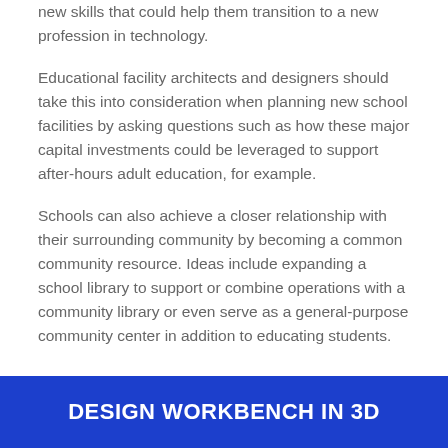new skills that could help them transition to a new profession in technology.
Educational facility architects and designers should take this into consideration when planning new school facilities by asking questions such as how these major capital investments could be leveraged to support after-hours adult education, for example.
Schools can also achieve a closer relationship with their surrounding community by becoming a common community resource. Ideas include expanding a school library to support or combine operations with a community library or even serve as a general-purpose community center in addition to educating students.
DESIGN WORKBENCH IN 3D